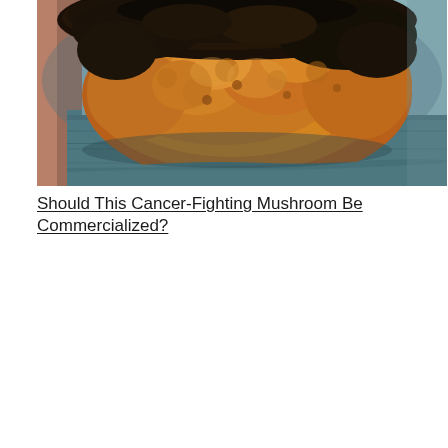[Figure (photo): Close-up photograph of a chaga mushroom — a large, rough, irregularly shaped fungal growth with a dark black/charcoal exterior crust and orange-brown interior texture, resting on a weathered teal/blue-painted wooden surface. Background is blurred with hints of a reddish-brown window frame and teal walls.]
Should This Cancer-Fighting Mushroom Be Commercialized?